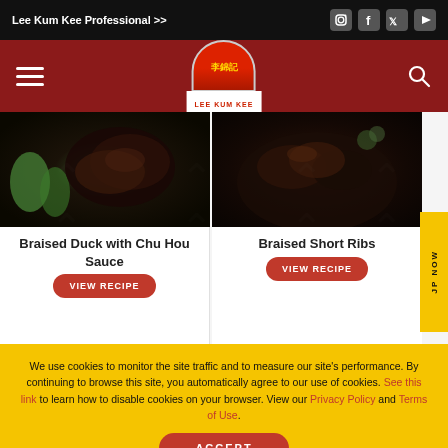Lee Kum Kee Professional >>
[Figure (logo): Lee Kum Kee logo with red semicircle, Chinese characters 李錦記, and text LEE KUM KEE]
[Figure (photo): Braised Duck with Chu Hou Sauce dish photo showing braised duck with green vegetables]
Braised Duck with Chu Hou Sauce
VIEW RECIPE
[Figure (photo): Braised Short Ribs dish photo showing ribs in dark sauce in a bowl]
Braised Short Ribs
VIEW RECIPE
We use cookies to monitor the site traffic and to measure our site's performance. By continuing to browse this site, you automatically agree to our use of cookies. See this link to learn how to disable cookies on your browser. View our Privacy Policy and Terms of Use.
ACCEPT